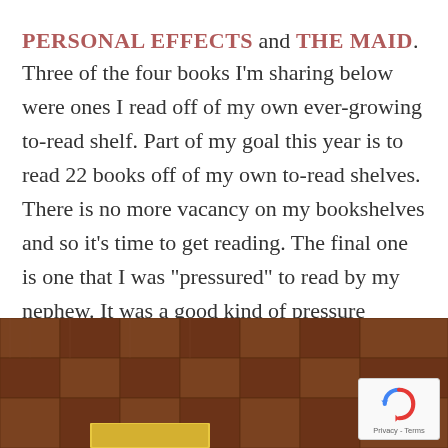PERSONAL EFFECTS and THE MAID. Three of the four books I'm sharing below were ones I read off of my own ever-growing to-read shelf. Part of my goal this year is to read 22 books off of my own to-read shelves. There is no more vacancy on my bookshelves and so it's time to get reading. The final one is one that I was “pressured” to read by my nephew. It was a good kind of pressure because I enjoyed it.
[Figure (photo): Photo of books on a wooden parquet floor. Bottom portion of image visible, showing warm brown wood flooring with a book partially visible at the bottom edge.]